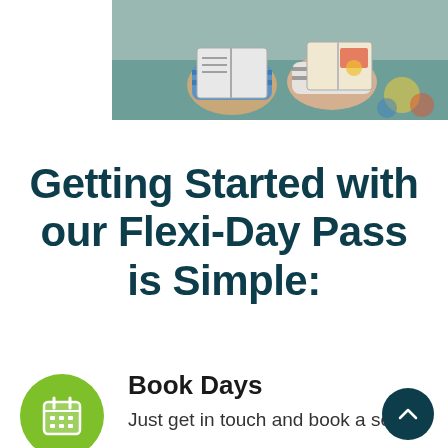[Figure (photo): Children reading books together, viewed from above]
Getting Started with our Flexi-Day Pass is Simple:
Book Days
Just get in touch and book a set